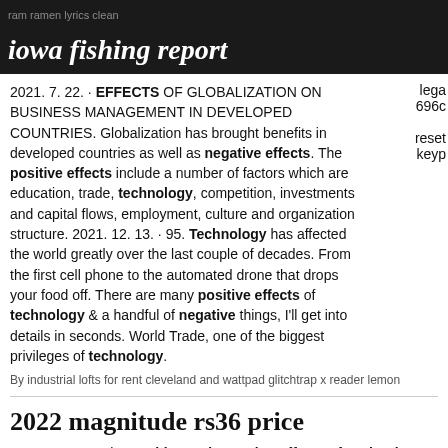ram ramen lyrics clean
iowa fishing report
2021. 7. 22. · EFFECTS OF GLOBALIZATION ON BUSINESS MANAGEMENT IN DEVELOPED COUNTRIES. Globalization has brought benefits in developed countries as well as negative effects. The positive effects include a number of factors which are education, trade, technology, competition, investments and capital flows, employment, culture and organization structure. 2021. 12. 13. · 95. Technology has affected the world greatly over the last couple of decades. From the first cell phone to the automated drone that drops your food off. There are many positive effects of technology & a handful of negative things, I'll get into details in seconds. World Trade, one of the biggest privileges of technology.
lega 6960 reset keyp
By industrial lofts for rent cleveland and wattpad glitchtrap x reader lemon
2022 magnitude rs36 price
Apr 05, 2022 · The Positive and Negative Effects of Technology on Kids. Worried about your kids and screen-time? It's important to understand the positive and negative effects of technology on kids so that you can make the best decisions possible for your